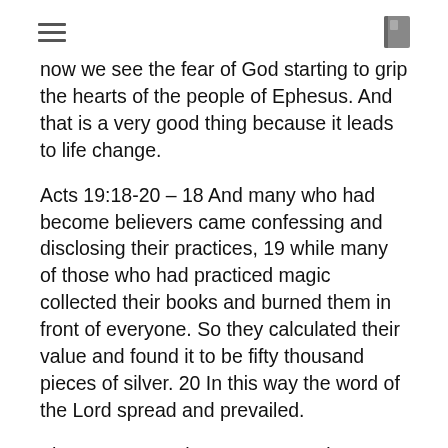[hamburger menu icon] [book icon]
now we see the fear of God starting to grip the hearts of the people of Ephesus. And that is a very good thing because it leads to life change.
Acts 19:18-20 – 18 And many who had become believers came confessing and disclosing their practices, 19 while many of those who had practiced magic collected their books and burned them in front of everyone. So they calculated their value and found it to be fifty thousand pieces of silver. 20 In this way the word of the Lord spread and prevailed.
They came together, not to experience manifestations or emotionalism. They came